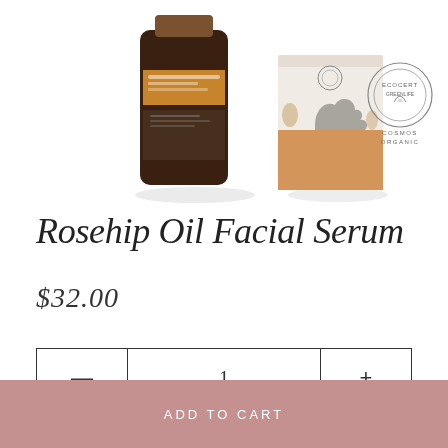[Figure (photo): Product photo showing a dark amber glass bottle of Rosehip Oil Facial Serum next to a small rectangular product box with illustrated animal motif, and a COSMOS ORGANIC certification logo in the top right corner]
Rosehip Oil Facial Serum
$32.00
— 1 +
ADD TO CART